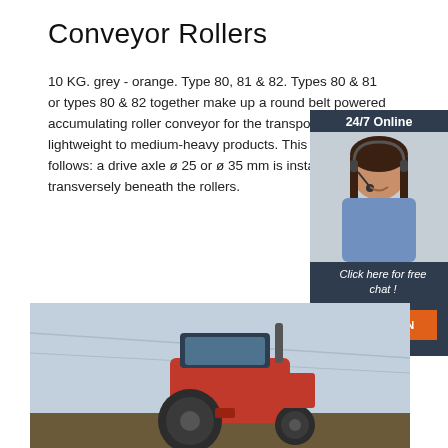Conveyor Rollers
10 KG. grey - orange. Type 80, 81 & 82. Types 80 & 81 or types 80 & 82 together make up a round belt powered accumulating roller conveyor for the transportation of lightweight to medium-heavy products. This works as follows: a drive axle ø 25 or ø 35 mm is installed transversely beneath the rollers.
[Figure (photo): Customer service representative with headset, smiling. 24/7 Online chat widget with QUOTATION button.]
Get Price
24/7 Online
Click here for free chat !
QUOTATION
[Figure (photo): Red tractor photographed from a low angle against a sky background.]